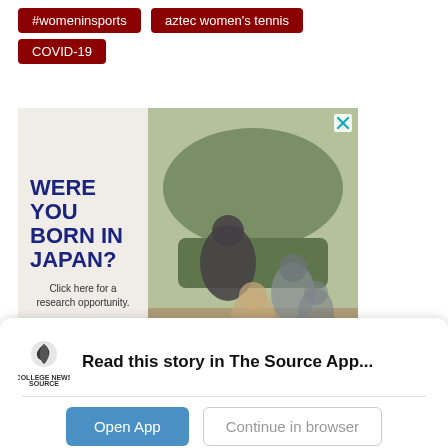#womeninsports
aztec women's tennis
COVID-19
[Figure (infographic): Advertisement showing bold dark blue text 'WERE YOU BORN IN JAPAN?' with subtext 'Click here for a research opportunity.' on a light beige background left panel, and a photo of young people outdoors on the right panel. Blue X close button top right.]
Read this story in The Source App...
Open App
Continue in browser